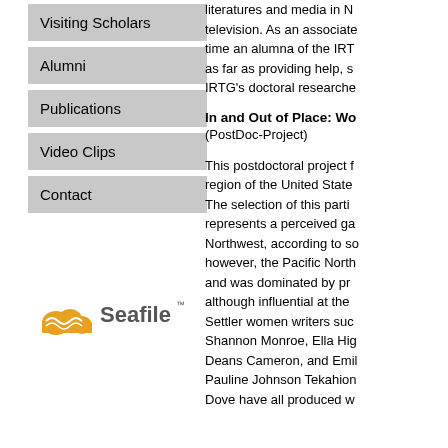Visiting Scholars
Alumni
Publications
Video Clips
Contact
[Figure (logo): Seafile logo with orange wave/cloud icon and 'Seafile' text with TM mark]
literatures and media in N… television. As an associate… time an alumna of the IRT… as far as providing help, s… IRTG's doctoral researche…
In and Out of Place: Wo…
(PostDoc-Project)
This postdoctoral project f… region of the United State… The selection of this parti… represents a perceived ga… Northwest, according to so… however, the Pacific North… and was dominated by pr… although influential at the… Settler women writers suc… Shannon Monroe, Ella Hig… Deans Cameron, and Emil… Pauline Johnson Tekahion… Dove have all produced w…